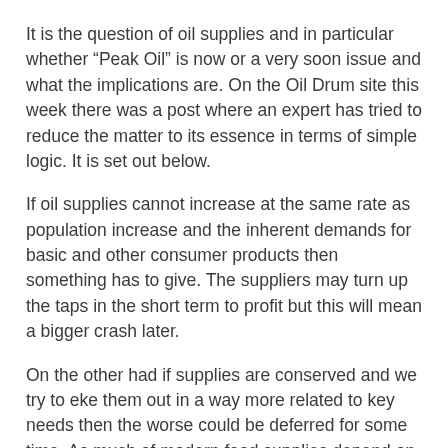It is the question of oil supplies and in particular whether “Peak Oil” is now or a very soon issue and what the implications are. On the Oil Drum site this week there was a post where an expert has tried to reduce the matter to its essence in terms of simple logic. It is set out below.
If oil supplies cannot increase at the same rate as population increase and the inherent demands for basic and other consumer products then something has to give. The suppliers may turn up the taps in the short term to profit but this will mean a bigger crash later.
On the other had if supplies are conserved and we try to eke them out in a way more related to key needs then the worse could be deferred for some time. As much of modern food supplies depend on petro-chemicals for large scale agricultural production including fertilisers, processing, distribution and packaging this matters.
What is flummoxing many experts is what will happen to oil prices. It is not clear and depends on overall consumer